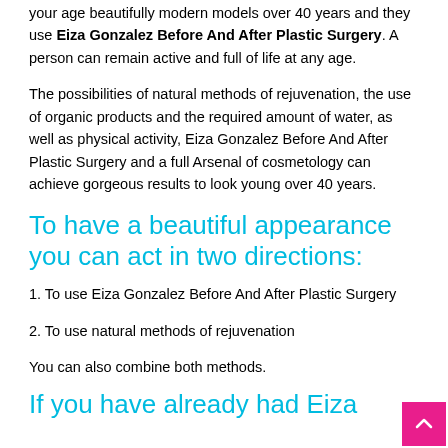your age beautifully modern models over 40 years and they use Eiza Gonzalez Before And After Plastic Surgery. A person can remain active and full of life at any age.
The possibilities of natural methods of rejuvenation, the use of organic products and the required amount of water, as well as physical activity, Eiza Gonzalez Before And After Plastic Surgery and a full Arsenal of cosmetology can achieve gorgeous results to look young over 40 years.
To have a beautiful appearance you can act in two directions:
1. To use Eiza Gonzalez Before And After Plastic Surgery
2. To use natural methods of rejuvenation
You can also combine both methods.
If you have already had Eiza